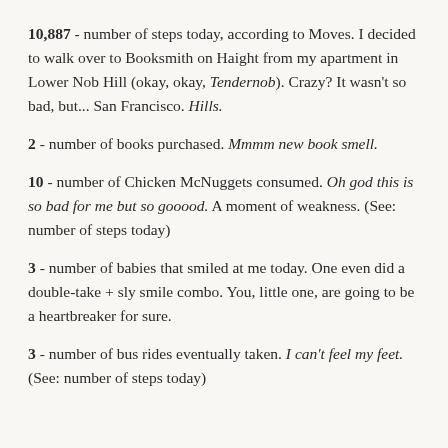10,887 - number of steps today, according to Moves. I decided to walk over to Booksmith on Haight from my apartment in Lower Nob Hill (okay, okay, Tendernob). Crazy? It wasn't so bad, but... San Francisco. Hills.
2 - number of books purchased. Mmmm new book smell.
10 - number of Chicken McNuggets consumed. Oh god this is so bad for me but so gooood. A moment of weakness. (See: number of steps today)
3 - number of babies that smiled at me today. One even did a double-take + sly smile combo. You, little one, are going to be a heartbreaker for sure.
3 - number of bus rides eventually taken. I can't feel my feet. (See: number of steps today)